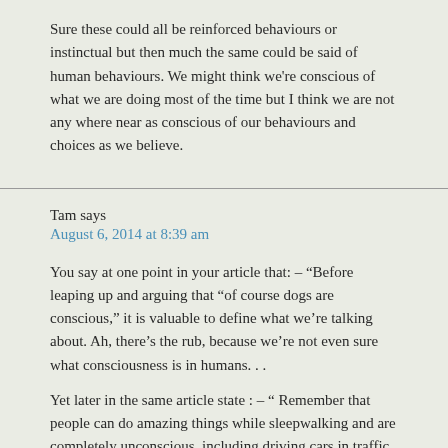Sure these could all be reinforced behaviours or instinctual but then much the same could be said of human behaviours. We might think we're conscious of what we are doing most of the time but I think we are not any where near as conscious of our behaviours and choices as we believe.
Tam says
August 6, 2014 at 8:39 am
You say at one point in your article that: – "Before leaping up and arguing that "of course dogs are conscious," it is valuable to define what we're talking about. Ah, there's the rub, because we're not even sure what consciousness is in humans. . .
Yet later in the same article state : – " Remember that people can do amazing things while sleepwalking and are completely unconscious, including driving cars in traffic . . ."
If we don't know what consciousness is, how can we possbily know whether sleepwalkers are conscious or unconscious? In fact, how can we possibly know whether anyone is conscious